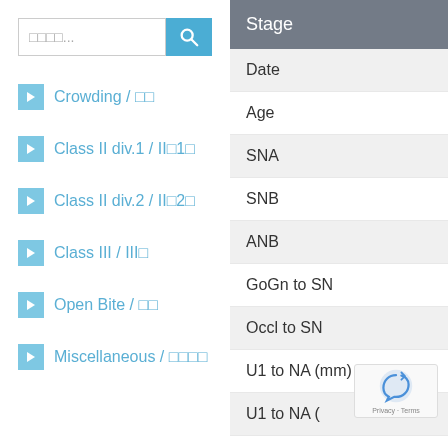□□□□...  [search button]
Crowding / □□
Class II div.1 / II□1□
Class II div.2 / II□2□
Class III / III□
Open Bite / □□
Miscellaneous / □□□□
| Stage |
| --- |
| Date |
| Age |
| SNA |
| SNB |
| ANB |
| GoGn to SN |
| Occl to SN |
| U1 to NA (mm) |
| U1 to NA ( |
| L1 to NB (mm) |